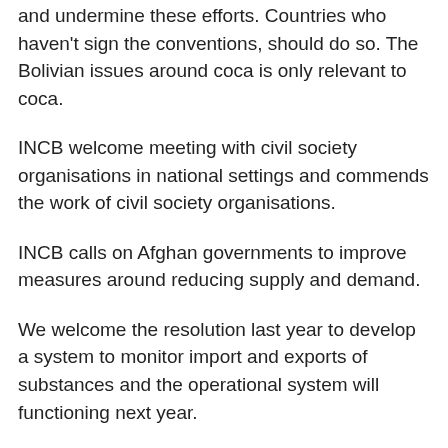and undermine these efforts. Countries who haven't sign the conventions, should do so. The Bolivian issues around coca is only relevant to coca.
INCB welcome meeting with civil society organisations in national settings and commends the work of civil society organisations.
INCB calls on Afghan governments to improve measures around reducing supply and demand.
We welcome the resolution last year to develop a system to monitor import and exports of substances and the operational system will functioning next year.